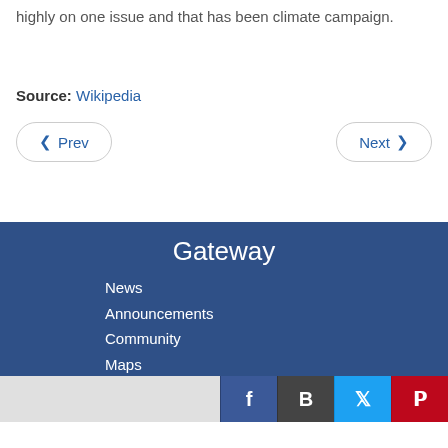highly on one issue and that has been climate campaign.
Source: Wikipedia
◀ Prev    Next ▶
Gateway
News
Announcements
Community
Maps
Portlets
Library
Calendar
Social icons: Facebook, B, Twitter, Pinterest